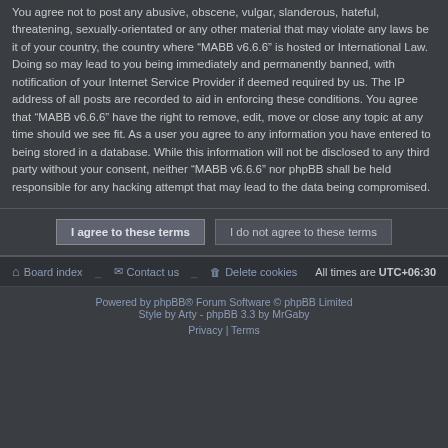You agree not to post any abusive, obscene, vulgar, slanderous, hateful, threatening, sexually-orientated or any other material that may violate any laws be it of your country, the country where “MABB v6.6.6” is hosted or International Law. Doing so may lead to you being immediately and permanently banned, with notification of your Internet Service Provider if deemed required by us. The IP address of all posts are recorded to aid in enforcing these conditions. You agree that “MABB v6.6.6” have the right to remove, edit, move or close any topic at any time should we see fit. As a user you agree to any information you have entered to being stored in a database. While this information will not be disclosed to any third party without your consent, neither “MABB v6.6.6” nor phpBB shall be held responsible for any hacking attempt that may lead to the data being compromised.
I agree to these terms
I do not agree to these terms
Board index  Contact us  Delete cookies  All times are UTC+06:30
Powered by phpBB® Forum Software © phpBB Limited
Style by Arty - phpBB 3.3 by MrGaby
Privacy | Terms